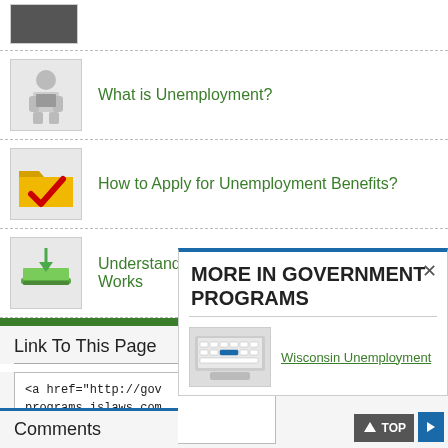[Figure (photo): Partial image of a person at top of page]
What is Unemployment?
How to Apply for Unemployment Benefits?
Understanding How Unemployment Insurance Works
Link To This Page
<a href="http://gov programs.islaws.com unemployment">West
MORE IN GOVERNMENT PROGRAMS
Wisconsin Unemployment
Comments